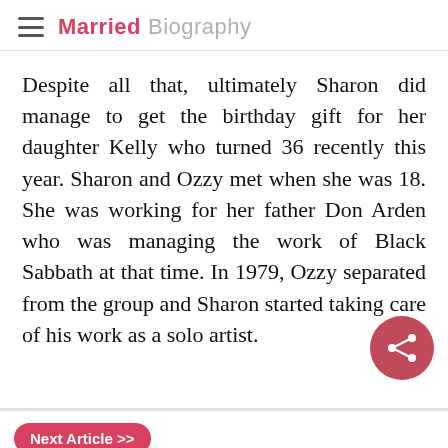Married Biography
Despite all that, ultimately Sharon did manage to get the birthday gift for her daughter Kelly who turned 36 recently this year. Sharon and Ozzy met when she was 18. She was working for her father Don Arden who was managing the work of Black Sabbath at that time. In 1979, Ozzy separated from the group and Sharon started taking care of his work as a solo artist.
Next Article >> Conan O'Brien: His late-night talk show set was burglarized!